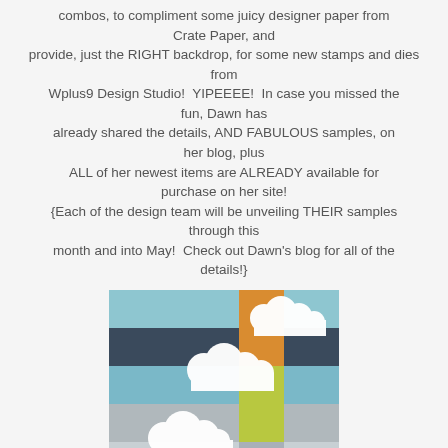combos, to compliment some juicy designer paper from Crate Paper, and provide, just the RIGHT backdrop, for some new stamps and dies from Wplus9 Design Studio!  YIPEEEE!  In case you missed the fun, Dawn has already shared the details, AND FABULOUS samples, on her blog, plus ALL of her newest items are ALREADY available for purchase on her site! {Each of the design team will be unveiling THEIR samples through this month and into May!  Check out Dawn's blog for all of the details!}
[Figure (photo): A crafting card featuring colorful striped paper panels in blue, dark navy, orange, yellow-green, and grey/silver, with white cloud die-cut shapes overlaid across the panels.]